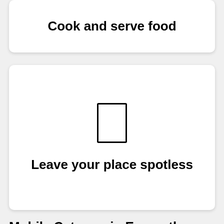Cook and serve food
[Figure (illustration): A placeholder rectangle icon representing an image for the 'Leave your place spotless' card]
Leave your place spotless
Mobile Caterers in Exmouth
Take your party to the next level with one of our Mobile